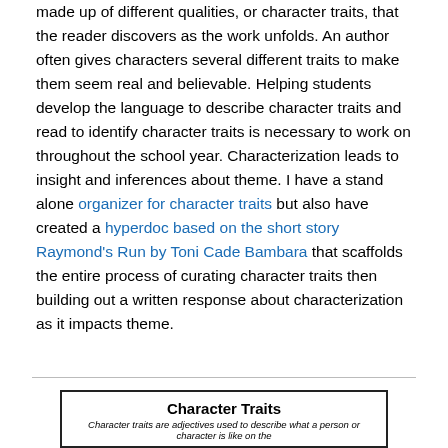made up of different qualities, or character traits, that the reader discovers as the work unfolds. An author often gives characters several different traits to make them seem real and believable. Helping students develop the language to describe character traits and read to identify character traits is necessary to work on throughout the school year. Characterization leads to insight and inferences about theme. I have a stand alone organizer for character traits but also have created a hyperdoc based on the short story Raymond's Run by Toni Cade Bambara that scaffolds the entire process of curating character traits then building out a written response about characterization as it impacts theme.
[Figure (other): Character Traits card with bold title 'Character Traits' and italic subtitle text about character traits being adjectives used to describe what a person or character is like on the...]